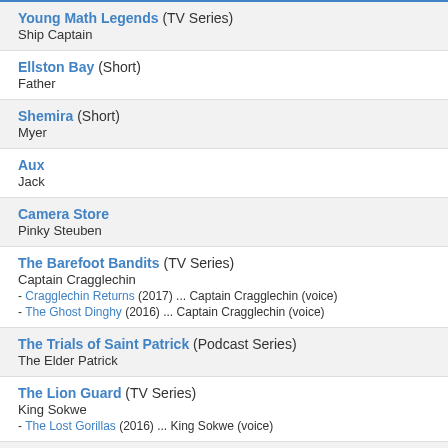Young Math Legends (TV Series)
Ship Captain
Ellston Bay (Short)
Father
Shemira (Short)
Myer
Aux
Jack
Camera Store
Pinky Steuben
The Barefoot Bandits (TV Series)
Captain Cragglechin
- Cragglechin Returns (2017) ... Captain Cragglechin (voice)
- The Ghost Dinghy (2016) ... Captain Cragglechin (voice)
The Trials of Saint Patrick (Podcast Series)
The Elder Patrick
The Lion Guard (TV Series)
King Sokwe
- The Lost Gorillas (2016) ... King Sokwe (voice)
Winter Thaw
Martin Avdeitch
The Apostle Peter: Redemption (partial, cut off)